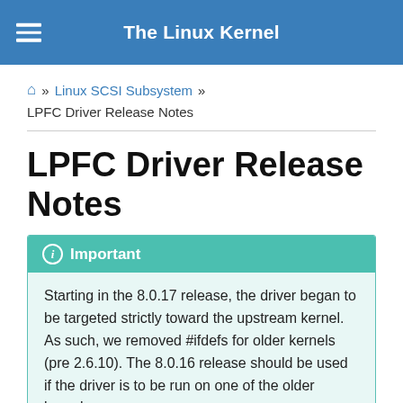The Linux Kernel
🏠 » Linux SCSI Subsystem » LPFC Driver Release Notes
LPFC Driver Release Notes
Important
Starting in the 8.0.17 release, the driver began to be targeted strictly toward the upstream kernel. As such, we removed #ifdefs for older kernels (pre 2.6.10). The 8.0.16 release should be used if the driver is to be run on one of the older kernels.
The proposed modifications to the transport layer for FC remote ports and extended attribute support is now part of